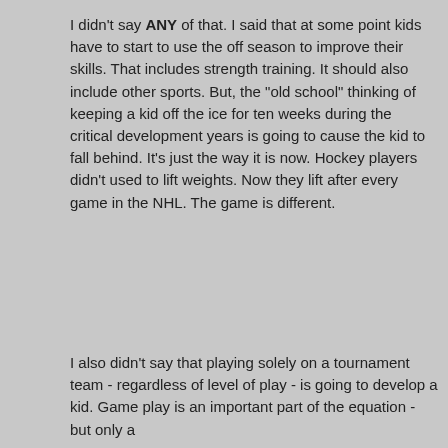Many of these spring/summer leagues have talent of all levels that prevent any real improvement of skills. The select kids show off and the town kids try to keep up. What you're not "getting" is that most of us have tried these leagues and don't see them as being that big of a difference maker. If the kid really wants to play then fine but there are more than a few that are basically made to go by overbearing parents who think they have it all figured out.

I can guarantee you in the 75% who quit there are ones driven out by moms and dads who turned hockey into a 12-month sport when the kid wanted to do other activities in the warm weather.
I didn't say ANY of that. I said that at some point kids have to start to use the off season to improve their skills. That includes strength training. It should also include other sports. But, the "old school" thinking of keeping a kid off the ice for ten weeks during the critical development years is going to cause the kid to fall behind. It's just the way it is now. Hockey players didn't used to lift weights. Now they lift after every game in the NHL. The game is different.
I also didn't say that playing solely on a tournament team - regardless of level of play - is going to develop a kid. Game play is an important part of the equation - but only a